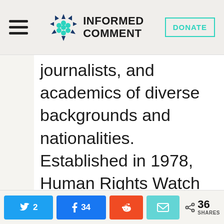INFORMED COMMENT
journalists, and academics of diverse backgrounds and nationalities. Established in 1978, Human Rights Watch is known for its
2  34  36 SHARES